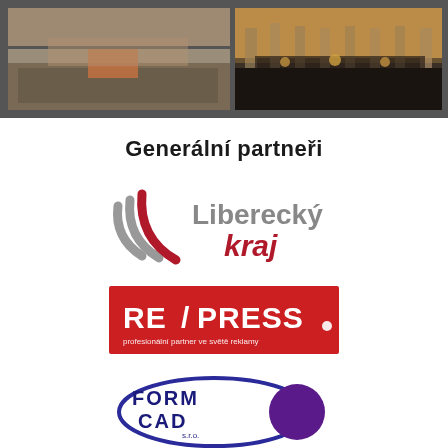[Figure (photo): Top banner with two photos on dark gray background: left photo shows a large outdoor crowd/market scene with buildings; right photo shows an illuminated theater or concert hall stage with warm lighting]
Generální partneři
[Figure (logo): Liberecký kraj logo with curved stripe graphic in gray and red, text 'Liberecký kraj' in gray and red]
[Figure (logo): REAPRESS logo: red rectangle with white bold text 'RE/PRESS' and red subtitle 'profesionální partner ve světě reklamy']
[Figure (logo): FORM CAD s.r.o. logo: oval shape with dark blue border, white background, bold text 'FORM CAD s.r.o.' and a solid purple circle on right side]